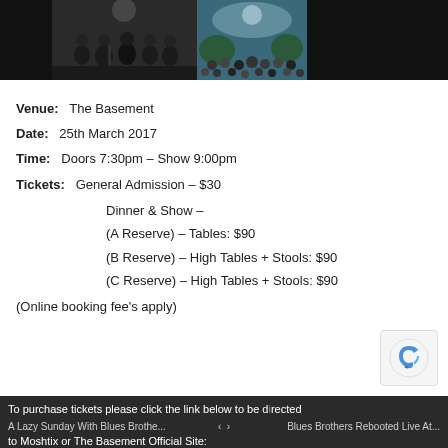[Figure (photo): Photo strip at top showing a band on stage (people in dark suits with instruments) and a crowd at an outdoor concert, with dark/black panels on either side]
Venue:   The Basement
Date:   25th March 2017
Time:   Doors 7:30pm – Show 9:00pm
Tickets:   General Admission – $30
      Dinner & Show –
      (A Reserve) – Tables: $90
      (B Reserve) – High Tables + Stools: $90
      (C Reserve) – High Tables + Stools: $90
(Online booking fee's apply)
To purchase tickets please click the link below to be directed to Moshtix or The Basement Official Site:
A Lazy Sunday With Blues Brothe...   ‹  ›   Blues Brothers Rebooted Live At...